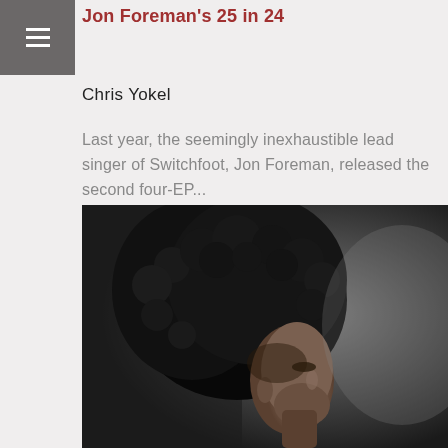Jon Foreman's 25 in 24
Chris Yokel
Last year, the seemingly inexhaustible lead singer of Switchfoot, Jon Foreman, released the second four-EP...
[Figure (photo): Black and white portrait photograph of a person with large curly afro hair, head tilted upward, shown in profile or three-quarter view against a dark gradient background.]